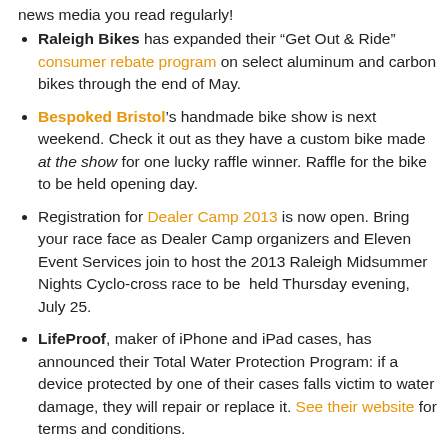news media you read regularly!
Raleigh Bikes has expanded their “Get Out & Ride” consumer rebate program on select aluminum and carbon bikes through the end of May.
Bespoked Bristol’s handmade bike show is next weekend. Check it out as they have a custom bike made at the show for one lucky raffle winner. Raffle for the bike to be held opening day.
Registration for Dealer Camp 2013 is now open. Bring your race face as Dealer Camp organizers and Eleven Event Services join to host the 2013 Raleigh Midsummer Nights Cyclo-cross race to be held Thursday evening, July 25.
LifeProof, maker of iPhone and iPad cases, has announced their Total Water Protection Program: if a device protected by one of their cases falls victim to water damage, they will repair or replace it. See their website for terms and conditions.
Here’s a Sea Otter Special from crankbrothers: upgrade your wheels with a new set of cobalt 11’s (and a free pair of black eggbeater 3 pedals) for $1100. Turn-in your old wheels at the Sea Otter crankbrothers booth (booth #126), and they’ll have